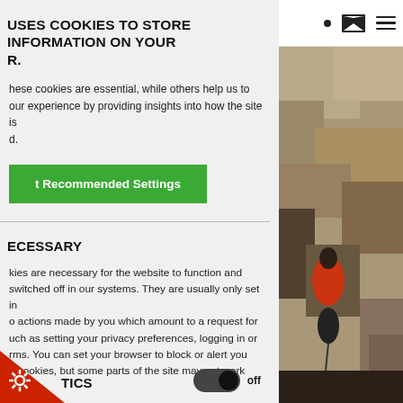USES COOKIES TO STORE INFORMATION ON YOUR R.
hese cookies are essential, while others help us to our experience by providing insights into how the site is d.
t Recommended Settings
ECESSARY
kies are necessary for the website to function and switched off in our systems. They are usually only set in o actions made by you which amount to a request for uch as setting your privacy preferences, logging in or rms. You can set your browser to block or alert you e cookies, but some parts of the site may not work then.
TICS
[Figure (photo): Rock climbing photo showing a person in red jacket climbing a rocky cliff face, right side of page]